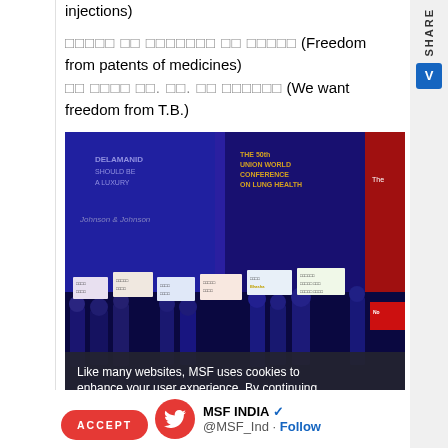injections)
दवाओं के पेटेंट से मुक्ति (Freedom from patents of medicines)
हम चाहते है. टी. बी. से मुक्ति (We want freedom from T.B.)
[Figure (photo): Photo of protesters at the 50th Union World Conference on Lung Health holding signs with slogans about TB freedom and medicine patents, on a blue-lit stage. Cookie consent banner overlaid at bottom: 'Like many websites, MSF uses cookies to enhance your user experience. By continuing to navigate this site you are giving consent to the issue of these cookies. No, give me more info']
MSF INDIA @MSF_Ind · Follow
ACCEPT